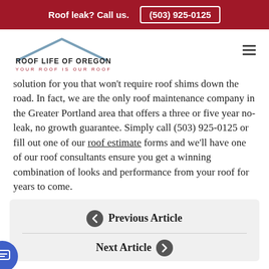Roof leak? Call us.  (503) 925-0125
[Figure (logo): Roof Life of Oregon logo with roof outline graphic. Text: ROOF LIFE OF OREGON / YOUR ROOF IS OUR ROOF]
solution for you that won't require roof shims down the road. In fact, we are the only roof maintenance company in the Greater Portland area that offers a three or five year no-leak, no growth guarantee. Simply call (503) 925-0125 or fill out one of our roof estimate forms and we'll have one of our roof consultants ensure you get a winning combination of looks and performance from your roof for years to come.
← Previous Article
Next Article →